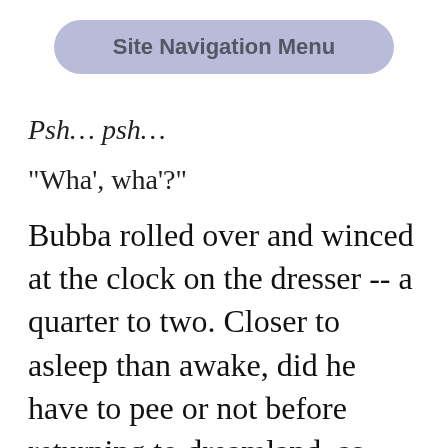[Figure (other): Site Navigation Menu button — a rounded pill-shaped button with light blue-gray background and bold gray text reading 'Site Navigation Menu']
Psh… psh…
"Wha', wha'?"
Bubba rolled over and winced at the clock on the dresser -- a quarter to two. Closer to asleep than awake, did he have to pee or not before returning to dreamland, as long as he was